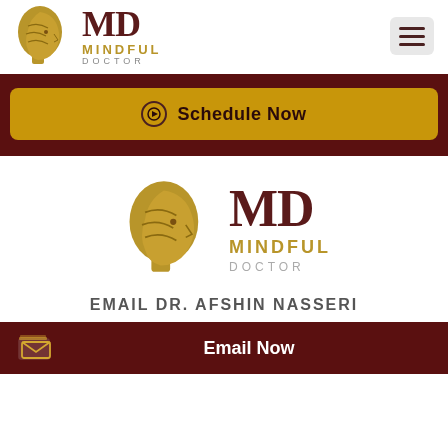[Figure (logo): Mindful Doctor logo in navbar: golden head silhouette with brain lines, MD text in dark red, MINDFUL in gold, DOCTOR in gray]
[Figure (other): Hamburger menu icon, three dark lines on light gray rounded rectangle]
[Figure (other): Schedule Now button: golden rounded rectangle with circular arrow icon and bold text 'Schedule Now' on dark red background bar]
[Figure (logo): Mindful Doctor center logo: larger golden head silhouette with brain lines, MD in dark red, MINDFUL in gold, DOCTOR in gray]
EMAIL DR. AFSHIN NASSERI
[Figure (other): Email Now button: dark red bar with envelope/email icon on left and bold white text 'Email Now']